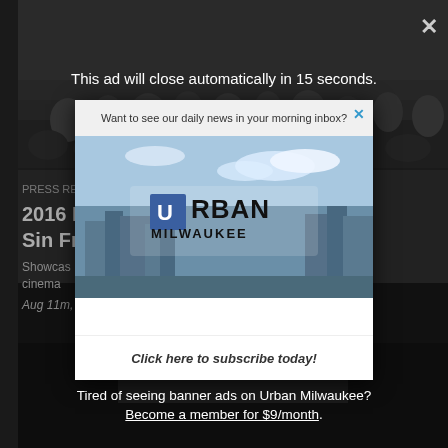This ad will close automatically in 15 seconds.
[Figure (screenshot): Urban Milwaukee newsletter subscription modal popup overlay on a news article page. Modal shows city skyline photo with Urban Milwaukee logo and 'Click here to subscribe today!' button. Background shows darkened article text about 2016 Cine Sin Fronteras film showcase.]
Want to see our daily news in your morning inbox?
Click here to subscribe today!
Tired of seeing banner ads on Urban Milwaukee?
Become a member for $9/month.